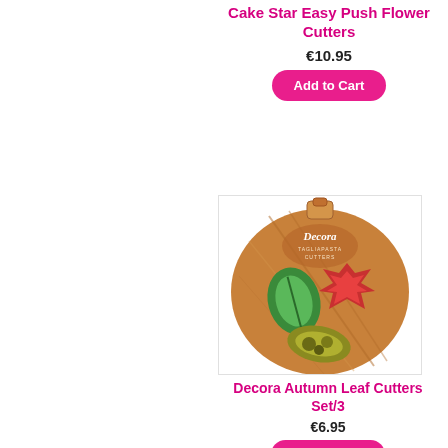Cake Star Easy Push Flower Cutters
€10.95
Add to Cart
[Figure (photo): Decora autumn leaf cutters set packaging shaped like a large leaf with 3 cutters inside: green leaf, red maple leaf, and olive/yellow leaf]
Decora Autumn Leaf Cutters Set/3
€6.95
Add to Cart
[Figure (photo): Decora product packaging shaped like a round disc with cutters visible at the bottom edge]